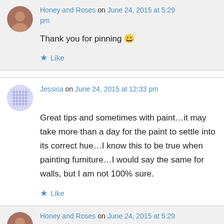Honey and Roses on June 24, 2015 at 5:29 pm
Thank you for pinning 😀
Like
Jessica on June 24, 2015 at 12:33 pm
Great tips and sometimes with paint…it may take more than a day for the paint to settle into its correct hue…I know this to be true when painting furniture…I would say the same for walls, but I am not 100% sure.
Like
Honey and Roses on June 24, 2015 at 5:29